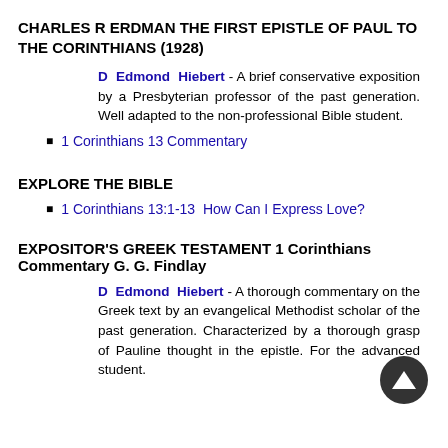CHARLES R ERDMAN THE FIRST EPISTLE OF PAUL TO THE CORINTHIANS (1928)
D Edmond Hiebert - A brief conservative exposition by a Presbyterian professor of the past generation. Well adapted to the non-professional Bible student.
1 Corinthians 13 Commentary
EXPLORE THE BIBLE
1 Corinthians 13:1-13  How Can I Express Love?
EXPOSITOR'S GREEK TESTAMENT 1 Corinthians Commentary G. G. Findlay
D Edmond Hiebert - A thorough commentary on the Greek text by an evangelical Methodist scholar of the past generation. Characterized by a thorough grasp of Pauline thought in the epistle. For the advanced student.